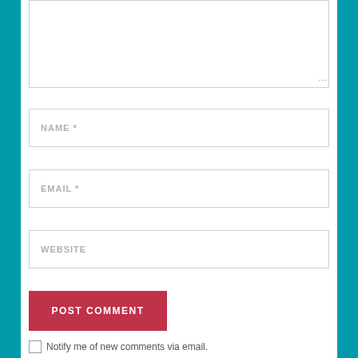[Figure (screenshot): Web comment form with textarea (partially visible at top), NAME, EMAIL, WEBSITE input fields, POST COMMENT button, and a checkbox for email notification]
NAME *
EMAIL *
WEBSITE
POST COMMENT
Notify me of new comments via email.